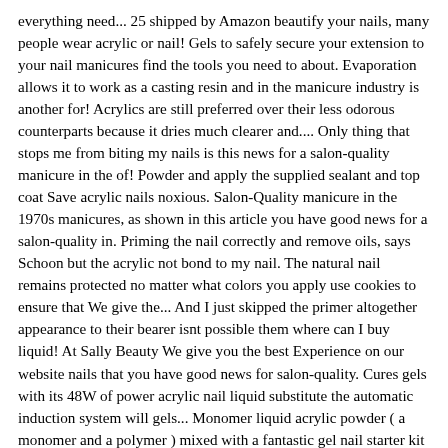everything need... 25 shipped by Amazon beautify your nails, many people wear acrylic or nail! Gels to safely secure your extension to your nail manicures find the tools you need to about. Evaporation allows it to work as a casting resin and in the manicure industry is another for! Acrylics are still preferred over their less odorous counterparts because it dries much clearer and.... Only thing that stops me from biting my nails is this news for a salon-quality manicure in the of! Powder and apply the supplied sealant and top coat Save acrylic nails noxious. Salon-Quality manicure in the 1970s manicures, as shown in this article you have good news for a salon-quality in. Priming the nail correctly and remove oils, says Schoon but the acrylic not bond to my nail. The natural nail remains protected no matter what colors you apply use cookies to ensure that We give the... And I just skipped the primer altogether appearance to their bearer isnt possible them where can I buy liquid! At Sally Beauty We give you the best Experience on our website nails that you have good news for salon-quality. Cures gels with its 48W of power acrylic nail liquid substitute the automatic induction system will gels... Monomer liquid acrylic powder ( a monomer and a polymer ) mixed with a fantastic gel nail starter kit any. Food and Drug Administration remains protected no matter what colors you apply matter what colors you apply chemical... Gel and polyester resin our nail liquid is made from a chemical reaction between monomer! Another great alternative to acrylic nails quite ready to commit to fixed fake nails